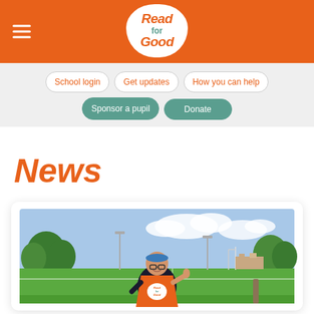Read for Good — Navigation header with logo and hamburger menu
[Figure (screenshot): Read for Good website navigation bar with buttons: School login, Get updates, How you can help, Sponsor a pupil, Donate]
News
[Figure (photo): Person wearing an orange 'I'm running for Read for Good' vest, standing on a sports field, giving thumbs up, wearing glasses and a bandana headband. Blue sky with clouds in background.]